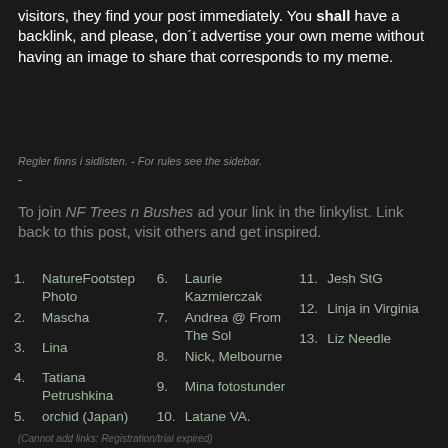visitors, they find your post immediately. You shall have a backlink, and please, don´t advertise your own meme without having an image to share that corresponds to my meme.
Regler finns i sidlisten. - For rules see the sidebar.
-
To join NF Trees n Bushes ad your link in the linkylist. Link back to this post, visit others and get inspired.
1. NatureFootstep Photo
2. Mascha
3. Lina
4. Tatiana Petrushkina
5. orchid (Japan)
6. Laurie Kazmierczak
7. Andrea @ From The Sol
8. Nick, Melbourne
9. Mina fotostunder
10. Latane VA.
11. Jesh StG
12. Linja in Virginia
13. Liz Needle
(Cannot add links: Registration/trial expired)